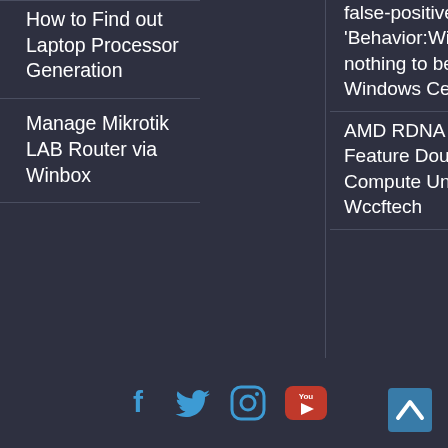How to Find out Laptop Processor Generation
Manage Mikrotik LAB Router via Winbox
false-positive threat 'Behavior:Win32/Hive.ZY'; it's nothing to be worried about - Windows Central
AMD RDNA 3 “Navi 3X” GPUs Feature Double The Cache Per Compute Unit & Shader Array - Wccftech
[Figure (infographic): Social media icons: Facebook, Twitter, Instagram, YouTube in a row at bottom center. Scroll-to-top arrow icon at bottom right.]